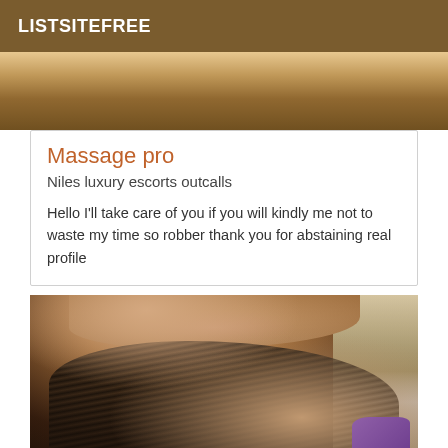LISTSITEFREE
[Figure (photo): Partial cropped photo at top of page, warm brown tones]
Massage pro
Niles luxury escorts outcalls
Hello I'll take care of you if you will kindly me not to waste my time so robber thank you for abstaining real profile
[Figure (photo): Photo of person wearing black sheer fabric clothing, warm skin tones, wooden furniture and tiled floor visible in background, purple cloth in lower right]